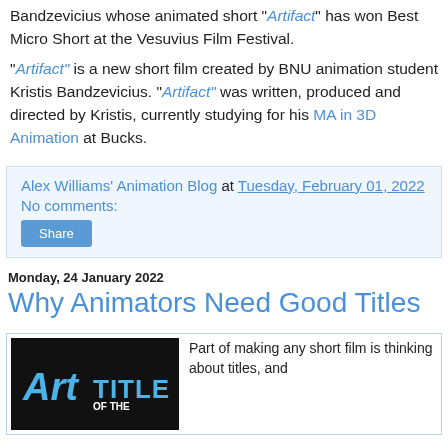Bandzevicius whose animated short "Artifact" has won Best Micro Short at the Vesuvius Film Festival.
"Artifact" is a new short film created by BNU animation student Kristis Bandzevicius. "Artifact" was written, produced and directed by Kristis, currently studying for his MA in 3D Animation at Bucks.
Alex Williams' Animation Blog at Tuesday, February 01, 2022
No comments:
Share
Monday, 24 January 2022
Why Animators Need Good Titles
[Figure (photo): Black background image with blue stylized text reading 'Art of the TITLE']
Part of making any short film is thinking about titles, and